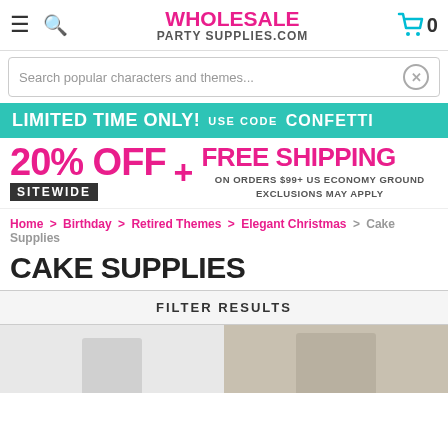WHOLESALE PARTY SUPPLIES.COM
Search popular characters and themes...
[Figure (infographic): Promotional banner: LIMITED TIME ONLY! USE CODE CONFETTI — 20% OFF SITEWIDE + FREE SHIPPING ON ORDERS $99+ US ECONOMY GROUND EXCLUSIONS MAY APPLY]
Home > Birthday > Retired Themes > Elegant Christmas > Cake Supplies
CAKE SUPPLIES
FILTER RESULTS
[Figure (photo): Product images partially visible at bottom of page]